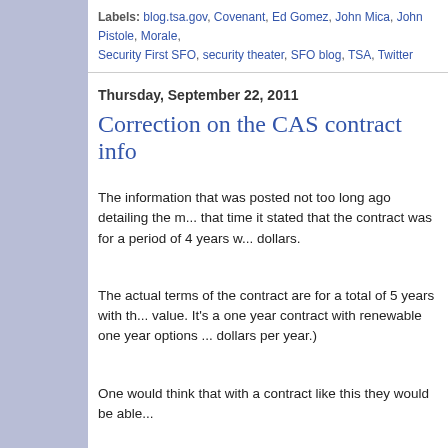Labels: blog.tsa.gov, Covenant, Ed Gomez, John Mica, John Pistole, Morale, Security First SFO, security theater, SFO blog, TSA, Twitter
Thursday, September 22, 2011
Correction on the CAS contract info
The information that was posted not too long ago detailing the r... that time it stated that the contract was for a period of 4 years w... dollars.
The actual terms of the contract are for a total of 5 years with th... value. It's a one year contract with renewable one year options ... dollars per year.)
One would think that with a contract like this they would be able...
Posted by H2Beale at 8:07 PM    No comments:
Labels: blog.tsa.gov, CBA, collective bargaining, Contract, GAO, John Mica, SFO, security theater, SFO blog, TSA, Twitter
Sunday, September 18, 2011